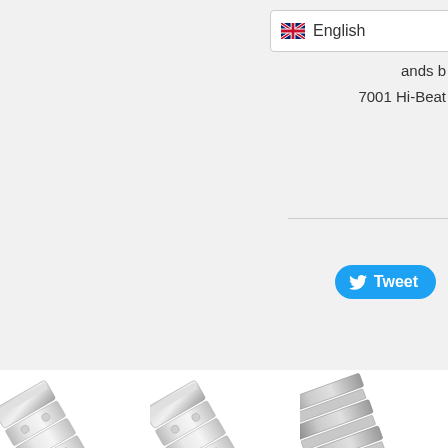[Figure (screenshot): English language selector dropdown with UK flag]
ands b
7001 Hi-Beat
[Figure (illustration): Twitter Tweet button in blue]
[Figure (photo): Silver stainless steel watch band - 20mm Rollball version II]
$157.13
20mm Rollball version II for Seiko SSC813P...
[Figure (photo): Silver stainless steel watch band - 22mm Rollball version II]
$157.13
22mm Rollball version II for Seiko GMT SSK...
[Figure (photo): Silver stainless steel watch band - 22mm A for Seiko G]
22mm A Seiko G